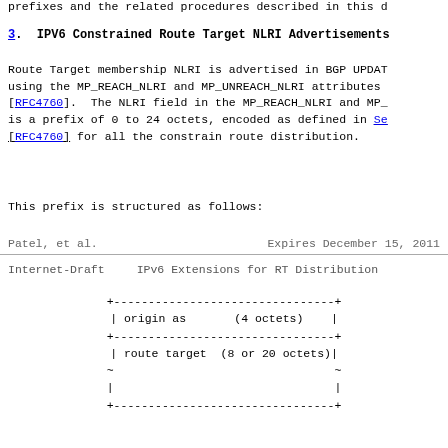prefixes and the related procedures described in this d
3.  IPV6 Constrained Route Target NLRI Advertisements
Route Target membership NLRI is advertised in BGP UPDAT using the MP_REACH_NLRI and MP_UNREACH_NLRI attributes [RFC4760].  The NLRI field in the MP_REACH_NLRI and MP_ is a prefix of 0 to 24 octets, encoded as defined in Se [RFC4760] for all the constrain route distribution.
This prefix is structured as follows:
Patel, et al.          Expires December 15, 2011
Internet-Draft     IPv6 Extensions for RT Distribution
[Figure (schematic): ASCII diagram showing prefix structure with fields: origin as (4 octets), route target (8 or 20 octets), and a continuation row with pipes and tildes.]